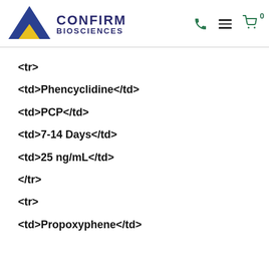Confirm Biosciences
<tr>
<td>Phencyclidine</td>
<td>PCP</td>
<td>7-14 Days</td>
<td>25 ng/mL</td>
</tr>
<tr>
<td>Propoxyphene</td>